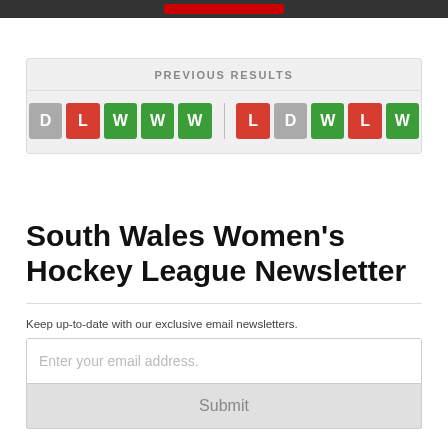PREVIOUS RESULTS
[Figure (infographic): Two groups of result tiles showing match results. First group: D (gray), L (red), W (green), W (green), W (green). Second group: L (red), D (gray), W (green), L (red), W (green).]
South Wales Women's Hockey League Newsletter
Keep up-to-date with our exclusive email newsletters.
Enter your email address.
Submit